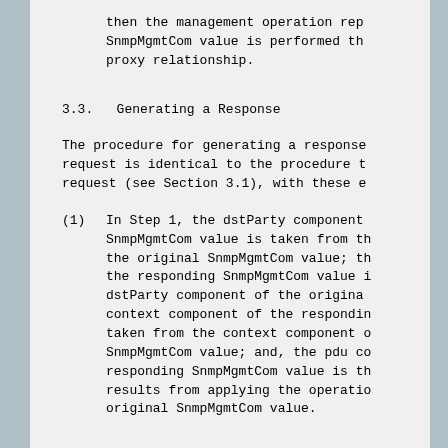then the management operation rep SnmpMgmtCom value is performed th proxy relationship.
3.3.  Generating a Response
The procedure for generating a response request is identical to the procedure t request (see Section 3.1), with these e
(1)  In Step 1, the dstParty component SnmpMgmtCom value is taken from th the original SnmpMgmtCom value; th the responding SnmpMgmtCom value i dstParty component of the origina context component of the respondin taken from the context component o SnmpMgmtCom value; and, the pdu c responding SnmpMgmtCom value is t results from applying the operatio original SnmpMgmtCom value.